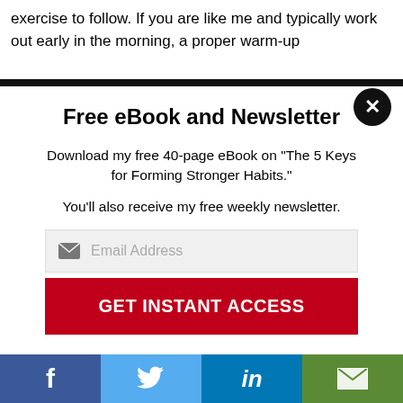exercise to follow. If you are like me and typically work out early in the morning, a proper warm-up
Free eBook and Newsletter
Download my free 40-page eBook on "The 5 Keys for Forming Stronger Habits."
You'll also receive my free weekly newsletter.
[Figure (screenshot): Email address input field with envelope icon and placeholder text 'Email Address']
GET INSTANT ACCESS
[Figure (infographic): Social sharing bar with four buttons: Facebook (f), Twitter (bird icon), LinkedIn (in), and email (envelope icon)]